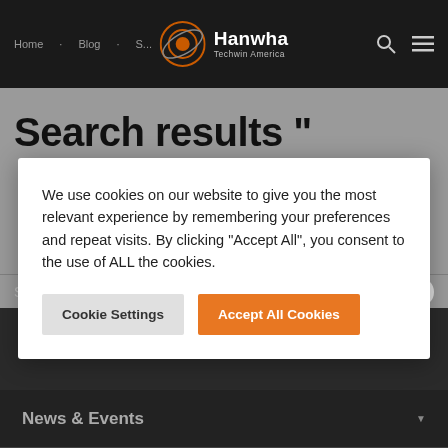Hanwha Techwin America
Search results "
We use cookies on our website to give you the most relevant experience by remembering your preferences and repeat visits. By clicking “Accept All”, you consent to the use of ALL the cookies.
Cookie Settings
Accept All Cookies
News & Events
Resources
Sales